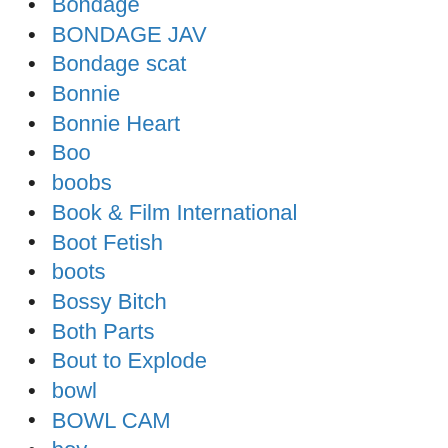Bondage
BONDAGE JAV
Bondage scat
Bonnie
Bonnie Heart
Boo
boobs
Book & Film International
Boot Fetish
boots
Bossy Bitch
Both Parts
Bout to Explode
bowl
BOWL CAM
boy
boy boy girl pissing